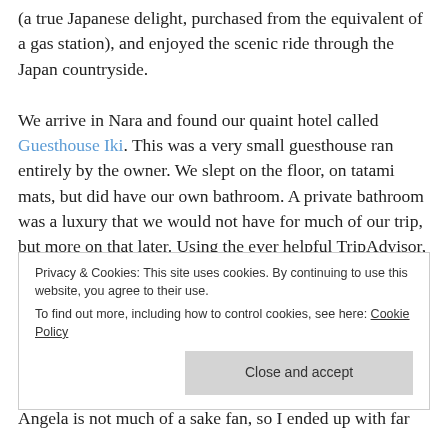(a true Japanese delight, purchased from the equivalent of a gas station), and enjoyed the scenic ride through the Japan countryside.

We arrive in Nara and found our quaint hotel called Guesthouse Iki. This was a very small guesthouse ran entirely by the owner. We slept on the floor, on tatami mats, but did have our own bathroom. A private bathroom was a luxury that we would not have for much of our trip, but more on that later. Using the ever helpful TripAdvisor, Angela located a nearby sake brewery once we had settled into our guesthouse. We wandered through the rustic lanes of Nara to find the Harushika sake brewery. For 500 yen, which is about $5 USD, we were given six shots of
Privacy & Cookies: This site uses cookies. By continuing to use this website, you agree to their use. To find out more, including how to control cookies, see here: Cookie Policy
Angela is not much of a sake fan, so I ended up with far